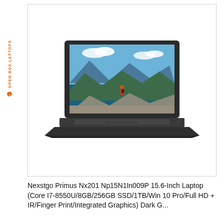[Figure (photo): Product listing card showing a dark-colored laptop (Nexstgo Primus) with an outdoor mountain/landscape scene displayed on its screen. The card has an orange 'OPEN BOX LAPTOPS' vertical label on the left side with a recycling icon.]
Nexstgo Primus Nx201 Np15N1In009P 15.6-Inch Laptop (Core I7-8550U/8GB/256GB SSD/1TB/Win 10 Pro/Full HD + IR/Finger Print/Integrated Graphics) Dark G...